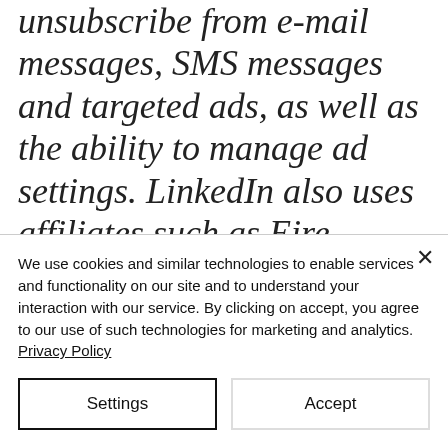unsubscribe from e-mail messages, SMS messages and targeted ads, as well as the ability to manage ad settings. LinkedIn also uses affiliates such as Eire, Google Analytics, BlueKai, DoubleClick, Nielsen, Comscore, Eloqua, and Lotame. The setting of such cookies may be denied under https://www.linkedin.com/legal/cookie-policy. The applicable privacy policy for LinkedIn is available...
We use cookies and similar technologies to enable services and functionality on our site and to understand your interaction with our service. By clicking on accept, you agree to our use of such technologies for marketing and analytics. Privacy Policy
Settings
Accept